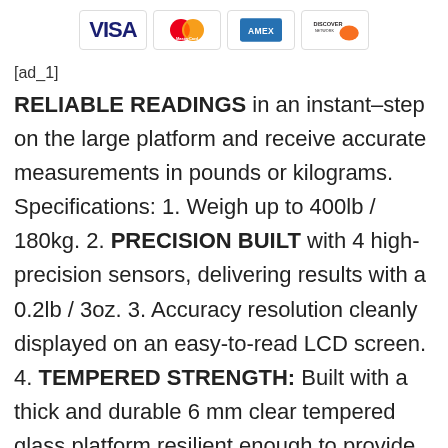[Figure (logo): Credit card logos: Visa, MasterCard, American Express, Discover]
[ad_1]
RELIABLE READINGS in an instant–step on the large platform and receive accurate measurements in pounds or kilograms. Specifications: 1. Weigh up to 400lb / 180kg. 2. PRECISION BUILT with 4 high-precision sensors, delivering results with a 0.2lb / 3oz. 3. Accuracy resolution cleanly displayed on an easy-to-read LCD screen. 4. TEMPERED STRENGTH: Built with a thick and durable 6 mm clear tempered glass platform resilient enough to provide years of fitness tracking. Note: 1.Check the scale before using. Do not use the scale if it is damaged. 2.Do not strike or bang on the scale and do not use the scale if there is a slight crack on the glass. Due to the nature of tempered glass, the glass will shatter if there is a